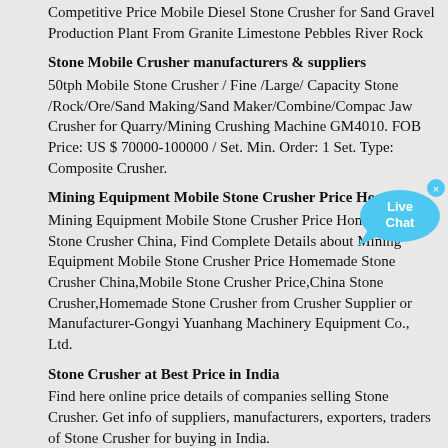Competitive Price Mobile Diesel Stone Crusher for Sand Gravel Production Plant From Granite Limestone Pebbles River Rock
Stone Mobile Crusher manufacturers & suppliers
50tph Mobile Stone Crusher / Fine /Large/ Capacity Stone /Rock/Ore/Sand Making/Sand Maker/Combine/Compac Jaw Crusher for Quarry/Mining Crushing Machine GM4010. FOB Price: US $ 70000-100000 / Set. Min. Order: 1 Set. Type: Composite Crusher.
Mining Equipment Mobile Stone Crusher Price Homema...
Mining Equipment Mobile Stone Crusher Price Homemade Stone Crusher China, Find Complete Details about Mining Equipment Mobile Stone Crusher Price Homemade Stone Crusher China,Mobile Stone Crusher Price,China Stone Crusher,Homemade Stone Crusher from Crusher Supplier or Manufacturer-Gongyi Yuanhang Machinery Equipment Co., Ltd.
Stone Crusher at Best Price in India
Find here online price details of companies selling Stone Crusher. Get info of suppliers, manufacturers, exporters, traders of Stone Crusher for buying in India.
Mobile Stone Mobile High Output Portable Diesel Jaw ...
2021-3-24 · Mobile Stone Mobile High Output Portable Diesel Jaw Crusher Price Tracked Line. Dewo machinery can